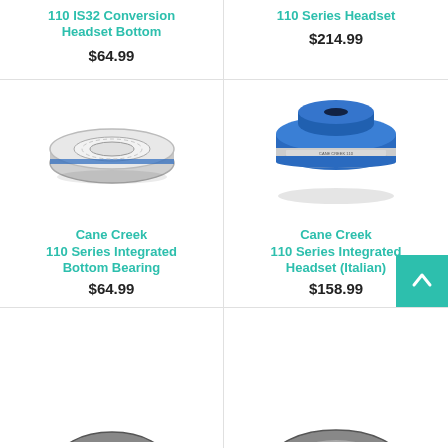110 IS32 Conversion Headset Bottom
$64.99
110 Series Headset
$214.99
[Figure (photo): Cane Creek 110 Series Integrated Bottom Bearing - silver ring/bearing unit with blue trim]
[Figure (photo): Cane Creek 110 Series Integrated Headset (Italian) - blue anodized aluminum headset cup with silver bearing]
Cane Creek 110 Series Integrated Bottom Bearing
$64.99
Cane Creek 110 Series Integrated Headset (Italian)
$158.99
[Figure (photo): Partial view of a Cane Creek product at the bottom of the page]